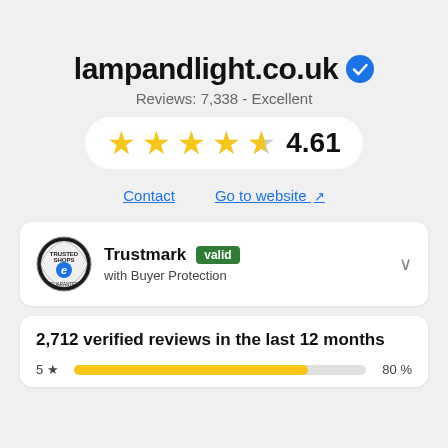lampandlight.co.uk
Reviews: 7,338 - Excellent
[Figure (infographic): Star rating display showing 4.61 out of 5 stars (4 full stars and 1 partial star) with numeric rating 4.61]
Contact   Go to website
[Figure (infographic): Trusted Shops logo with Trustmark 'valid' badge and text 'with Buyer Protection']
2,712 verified reviews in the last 12 months
[Figure (bar-chart): Rating distribution]